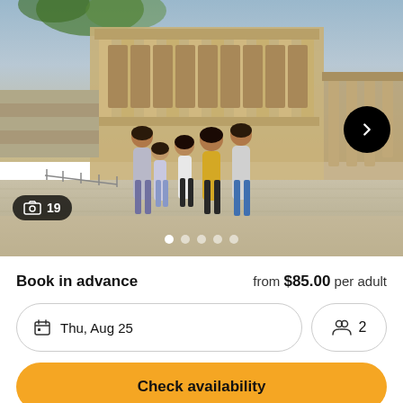[Figure (photo): Group of women and children posing in front of ancient ruins (Library of Celsus, Ephesus, Turkey). Stone columns and carved facade in background.]
Book in advance   from $85.00 per adult
Thu, Aug 25
2
Check availability